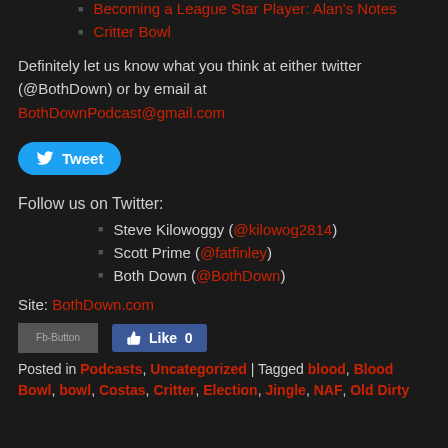Becoming a League Star Player: Alan's Notes
Critter Bowl
Definitely let us know what you think at either twitter (@BothDown) or by email at BothDownPodcast@gmail.com
[Figure (other): Twitter Tweet button]
Follow us on Twitter:
Steve Kilowoggy (@kilowog2814)
Scott Prime (@fatfinley)
Both Down (@BothDown)
Site: BothDown.com
[Figure (other): Facebook Fb-Button image placeholder and Like button showing 0 likes]
Posted in Podcasts, Uncategorized | Tagged blood, Blood Bowl, bowl, Costas, Critter, Election, Jingle, NAF, Old Dirty